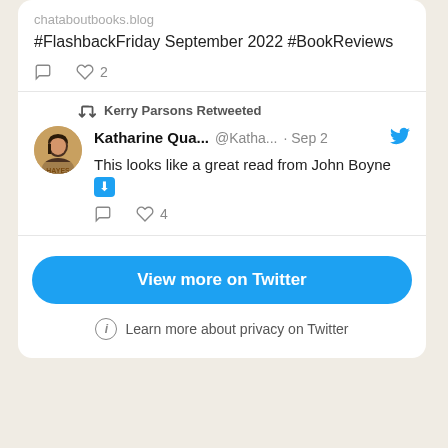chataboutbooks.blog
#FlashbackFriday September 2022 #BookReviews
❤ 2
Kerry Parsons Retweeted
Katharine Qua... @Katha... · Sep 2
This looks like a great read from John Boyne ⬇
❤ 4
View more on Twitter
Learn more about privacy on Twitter